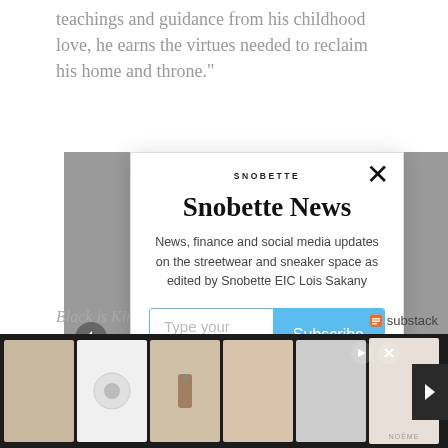teachings and guidance from his childhood love, he earns the virtues needed to reclaim his home and throne."
[Figure (screenshot): Snobette newsletter signup modal overlay on top of a webpage. Modal contains SNOBETTE logo, title 'Snobette News', description text 'News, finance and social media updates on the streetwear and sneaker space as edited by Snobette EIC Lois Sakany', email input field with 'Type your email...' placeholder, and a blue Subscribe button. Close X button at top right. Substack logo at bottom right of modal.]
Black is King will launch two weeks following
[Figure (screenshot): Bottom advertisement bar showing product images on dark background with navigation arrow on right side.]